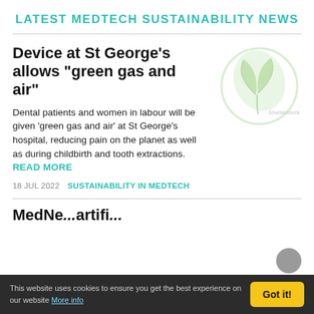LATEST MEDTECH SUSTAINABILITY NEWS
Device at St George's allows "green gas and air"
[Figure (illustration): Green leaf/plant sustainability icon inside a circular outline, light green colors, watermark-style. Shutterstock credit label.]
Dental patients and women in labour will be given 'green gas and air' at St George's hospital, reducing pain on the planet as well as during childbirth and tooth extractions. READ MORE
18 JUL 2022   SUSTAINABILITY IN MEDTECH
MedNe...artifi...
This website uses cookies to ensure you get the best experience on our website More info